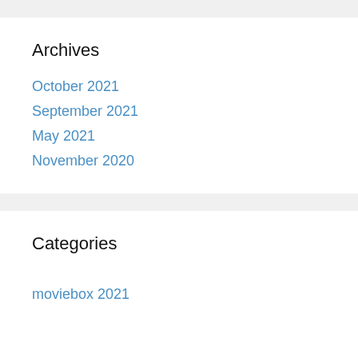Archives
October 2021
September 2021
May 2021
November 2020
Categories
moviebox 2021